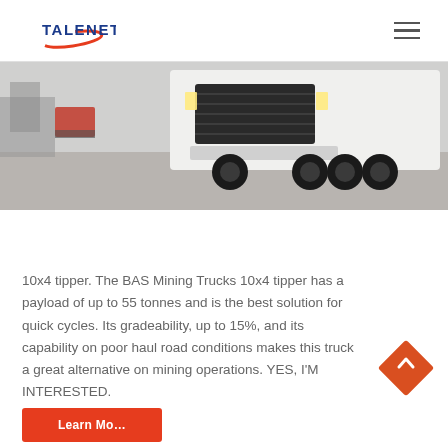TALENET
[Figure (photo): Front/underside view of a large white mining truck (10x4 tipper) parked on a concrete lot, taken from a low angle. Trees and industrial buildings visible in the background.]
10x4 tipper. The BAS Mining Trucks 10x4 tipper has a payload of up to 55 tonnes and is the best solution for quick cycles. Its gradeability, up to 15%, and its capability on poor haul road conditions makes this truck a great alternative on mining operations. YES, I'M INTERESTED.